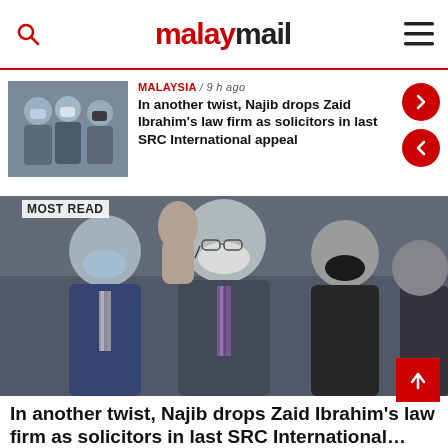malaymail
MALAYSIA / 9 h ago
In another twist, Najib drops Zaid Ibrahim's law firm as solicitors in last SRC International appeal
MOST READ
[Figure (photo): Man in white face mask waving, surrounded by others in masks, wearing suits]
In another twist, Najib drops Zaid Ibrahim's law firm as solicitors in last SRC International...
[Figure (photo): Partial bottom image preview]